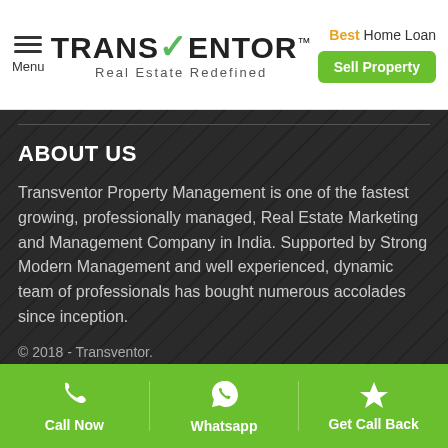TRANS VENTOR™ Real Estate Redefined | Best Home Loan | Sell Property
ABOUT US
Transventor Property Management is one of the fastest growing, professionally managed, Real Estate Marketing and Management Company in India. Supported by Strong Modern Management and well experienced, dynamic team of professionals has bought numerous accolades since inception.
© 2018 - Transventor.
PROPERTY CITIES
Call Now | Whatsapp | Get Call Back